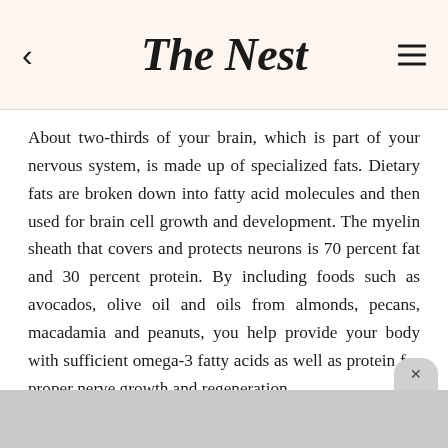The Nest
About two-thirds of your brain, which is part of your nervous system, is made up of specialized fats. Dietary fats are broken down into fatty acid molecules and then used for brain cell growth and development. The myelin sheath that covers and protects neurons is 70 percent fat and 30 percent protein. By including foods such as avocados, olive oil and oils from almonds, pecans, macadamia and peanuts, you help provide your body with sufficient omega-3 fatty acids as well as protein for proper nerve growth and regeneration.